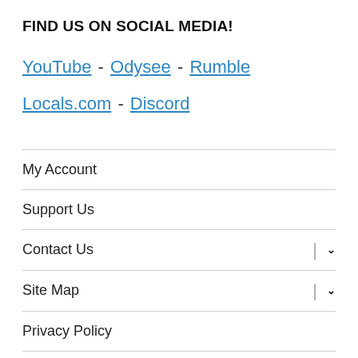FIND US ON SOCIAL MEDIA!
YouTube - Odysee - Rumble
Locals.com - Discord
My Account
Support Us
Contact Us
Site Map
Privacy Policy